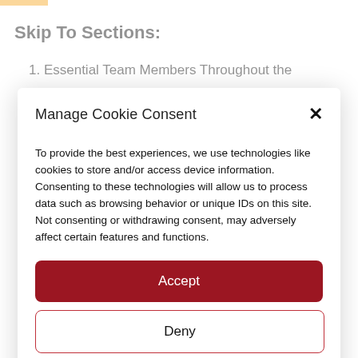Skip To Sections:
1. Essential Team Members Throughout the
Manage Cookie Consent
To provide the best experiences, we use technologies like cookies to store and/or access device information. Consenting to these technologies will allow us to process data such as browsing behavior or unique IDs on this site. Not consenting or withdrawing consent, may adversely affect certain features and functions.
Accept
Deny
View preferences